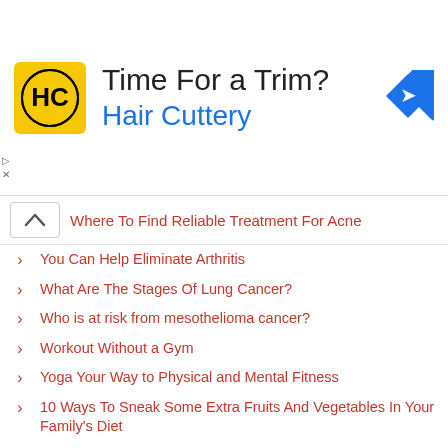[Figure (illustration): Hair Cuttery advertisement banner with yellow HC logo, 'Time For a Trim?' headline, 'Hair Cuttery' in blue, and blue diamond navigation arrow icon]
Where To Find Reliable Treatment For Acne
You Can Help Eliminate Arthritis
What Are The Stages Of Lung Cancer?
Who is at risk from mesothelioma cancer?
Workout Without a Gym
Yoga Your Way to Physical and Mental Fitness
10 Ways To Sneak Some Extra Fruits And Vegetables In Your Family's Diet
25 Ways Get 10 Mins Of Fitness Exercise
Why is it Hard to Quit Smoking?
Be Healthier With Veggies
3 Choices To Help You Lose Weight
Eat a variety of Veggies for a Healthier you
10 Effective Home Remedies for Eye Flu
A Healthy Guide to Good Nutrition